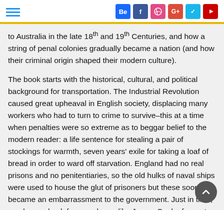[hamburger menu icon] [social icons: Behance, Facebook, Dribbble, Google+, Vine, YouTube]
to Australia in the late 18th and 19th Centuries, and how a string of penal colonies gradually became a nation (and how their criminal origin shaped their modern culture).
The book starts with the historical, cultural, and political background for transportation. The Industrial Revolution caused great upheaval in English society, displacing many workers who had to turn to crime to survive–this at a time when penalties were so extreme as to beggar belief to the modern reader: a life sentence for stealing a pair of stockings for warmth, seven years' exile for taking a loaf of bread in order to ward off starvation. England had no real prisons and no penitentiaries, so the old hulks of naval ships were used to house the glut of prisoners but these soon became an embarrassment to the government. Just in time, word came back from explorers like James Cook of a vast new land in the South Pacific. The Crown adopted the idea of shipping its prisoners there, not to reform them but just to be rid of them. In the meantime, it was hoped, the settlements they carved out could be used as bases from which to limit Napoleonic